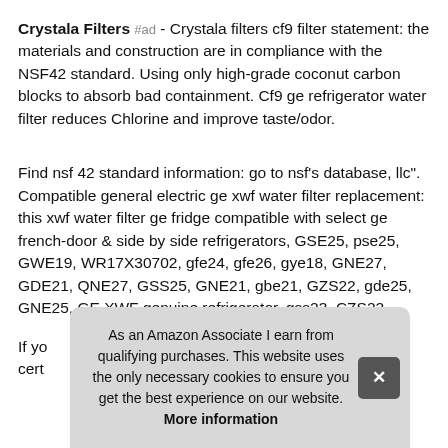Crystala Filters #ad - Crystala filters cf9 filter statement: the materials and construction are in compliance with the NSF42 standard. Using only high-grade coconut carbon blocks to absorb bad containment. Cf9 ge refrigerator water filter reduces Chlorine and improve taste/odor.
Find nsf 42 standard information: go to nsf's database, llc". Compatible general electric ge xwf water filter replacement: this xwf water filter ge fridge compatible with select ge french-door & side by side refrigerators, GSE25, pse25, GWE19, WR17X30702, gfe24, gfe26, gye18, GNE27, GDE21, QNE27, GSS25, GNE21, gbe21, GZS22, gde25, GNE25, GE XWF genuine refrigerator, gss23, CZS22.
If yo cert
As an Amazon Associate I earn from qualifying purchases. This website uses the only necessary cookies to ensure you get the best experience on our website. More information